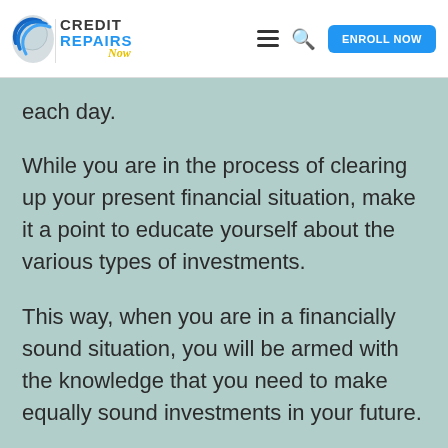Credit Repairs Now — ENROLL NOW
each day.
While you are in the process of clearing up your present financial situation, make it a point to educate yourself about the various types of investments.
This way, when you are in a financially sound situation, you will be armed with the knowledge that you need to make equally sound investments in your future.